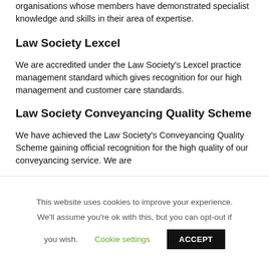organisations whose members have demonstrated specialist knowledge and skills in their area of expertise.
Law Society Lexcel
We are accredited under the Law Society's Lexcel practice management standard which gives recognition for our high management and customer care standards.
Law Society Conveyancing Quality Scheme
We have achieved the Law Society's Conveyancing Quality Scheme gaining official recognition for the high quality of our conveyancing service. We are
This website uses cookies to improve your experience. We'll assume you're ok with this, but you can opt-out if you wish. Cookie settings ACCEPT